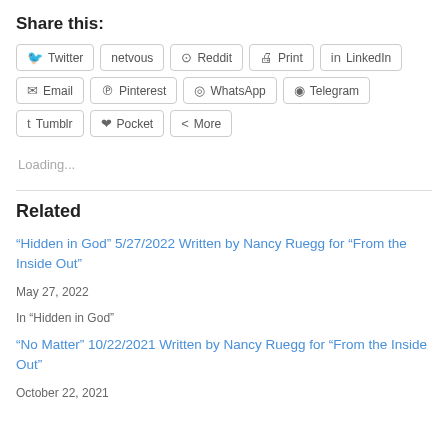Share this:
Twitter | netvous | Reddit | Print | LinkedIn | Email | Pinterest | WhatsApp | Telegram | Tumblr | Pocket | More
Loading...
Related
“Hidden in God” 5/27/2022 Written by Nancy Ruegg for “From the Inside Out”
May 27, 2022
In "Hidden in God"
“No Matter” 10/22/2021 Written by Nancy Ruegg for “From the Inside Out”
October 22, 2021